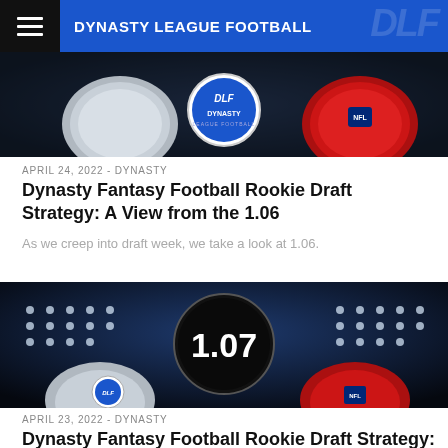DYNASTY LEAGUE FOOTBALL
[Figure (photo): Article hero image showing football helmets (DLF branded and NFL) on dark background with circular DLF logo medallion]
APRIL 24, 2022 - DYNASTY
Dynasty Fantasy Football Rookie Draft Strategy: A View from the 1.06
As we creep into draft week, we take a look at 1.06.
[Figure (photo): Article hero image showing football helmets (DLF branded and NFL) with a black circle medallion displaying 1.07 in white text, stadium lights in background]
APRIL 23, 2022 - DYNASTY
Dynasty Fantasy Football Rookie Draft Strategy: A View from